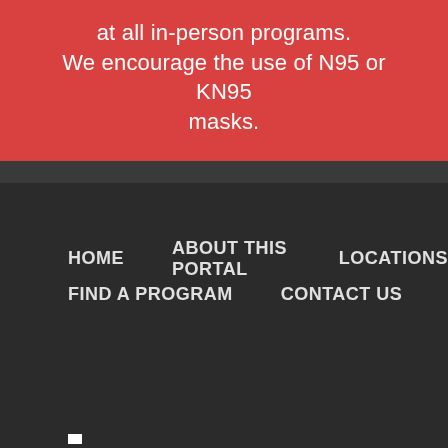at all in-person programs. We encourage the use of N95 or KN95 masks.
HOME
ABOUT THIS PORTAL
LOCATIONS
FIND A PROGRAM
CONTACT US